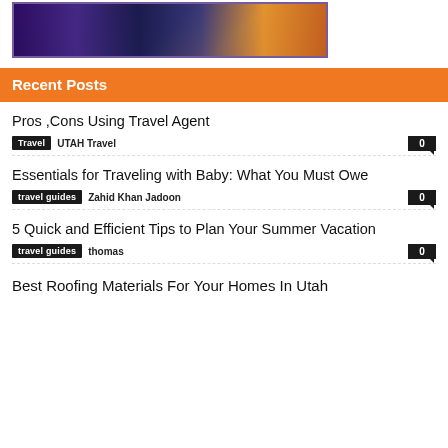[Figure (photo): City night scene with neon lights and urban architecture, purple and orange tones]
Recent Posts
Pros ,Cons Using Travel Agent
Travel  UTAH Travel  0
Essentials for Traveling with Baby: What You Must Owe
travel guides  Zahid Khan Jadoon  0
5 Quick and Efficient Tips to Plan Your Summer Vacation
travel guides  thomas  0
Best Roofing Materials For Your Homes In Utah